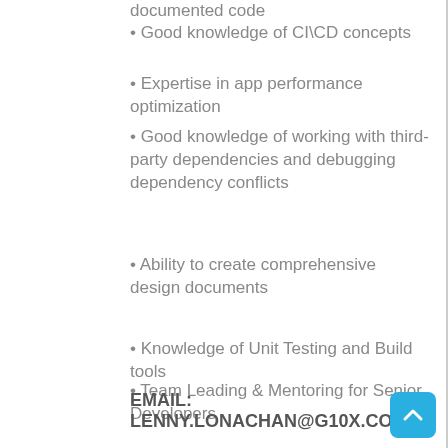documented code
• Good knowledge of CI\CD concepts
• Expertise in app performance optimization
• Good knowledge of working with third-party dependencies and debugging dependency conflicts
• Ability to create comprehensive design documents
• Knowledge of Unit Testing and Build tools
• Team Leading & Mentoring for Senior Developers
Work location – Remote/ Hybrid /Cochin
EMAIL: LENNY.LONACHAN@G10X.COM